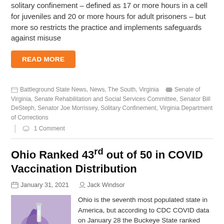solitary confinement – defined as 17 or more hours in a cell for juveniles and 20 or more hours for adult prisoners – but more so restricts the practice and implements safeguards against misuse
READ MORE
Battleground State News, News, The South, Virginia   Senate of Virginia, Senate Rehabilitation and Social Services Committee, Senator Bill DeSteph, Senator Joe Morrissey, Solitary Confinement, Virginia Department of Corrections   1 Comment
Ohio Ranked 43rd out of 50 in COVID Vaccination Distribution
January 31, 2021   Jack Windsor
[Figure (photo): Photo of a gloved hand holding a vaccine syringe]
Ohio is the seventh most populated state in America, but according to CDC COVID data on January 28 the Buckeye State ranked 43RD in vaccine doses distributed per 100,000 people